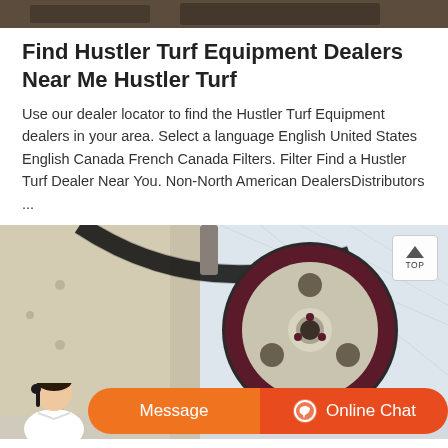[Figure (photo): Dark background top image strip showing outdoor scene]
Find Hustler Turf Equipment Dealers Near Me Hustler Turf
Use our dealer locator to find the Hustler Turf Equipment dealers in your area. Select a language English United States English Canada French Canada Filters. Filter Find a Hustler Turf Dealer Near You. Non-North American DealersDistributors ...
[Figure (photo): Industrial machinery showing a large flywheel or pulley with a belt drive, mounted on yellow/beige equipment against a white background]
Message
Online Chat